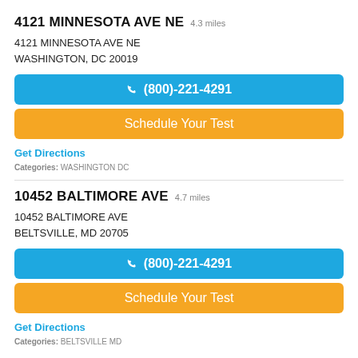4121 MINNESOTA AVE NE 4.3 miles
4121 MINNESOTA AVE NE
WASHINGTON, DC 20019
(800)-221-4291
Schedule Your Test
Get Directions
Categories: WASHINGTON DC
10452 BALTIMORE AVE 4.7 miles
10452 BALTIMORE AVE
BELTSVILLE, MD 20705
(800)-221-4291
Schedule Your Test
Get Directions
Categories: BELTSVILLE MD